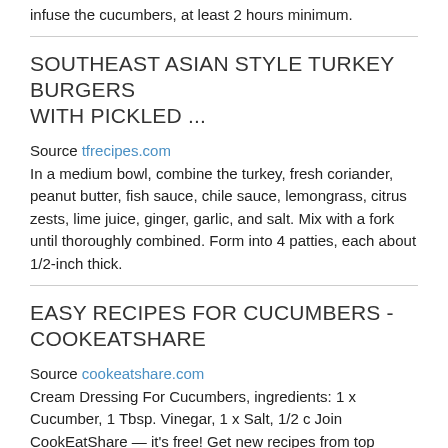infuse the cucumbers, at least 2 hours minimum.
SOUTHEAST ASIAN STYLE TURKEY BURGERS WITH PICKLED ...
Source tfrecipes.com
In a medium bowl, combine the turkey, fresh coriander, peanut butter, fish sauce, chile sauce, lemongrass, citrus zests, lime juice, ginger, garlic, and salt. Mix with a fork until thoroughly combined. Form into 4 patties, each about 1/2-inch thick.
EASY RECIPES FOR CUCUMBERS - COOKEATSHARE
Source cookeatshare.com
Cream Dressing For Cucumbers, ingredients: 1 x Cucumber, 1 Tbsp. Vinegar, 1 x Salt, 1/2 c Join CookEatShare — it's free! Get new recipes from top Professionals!